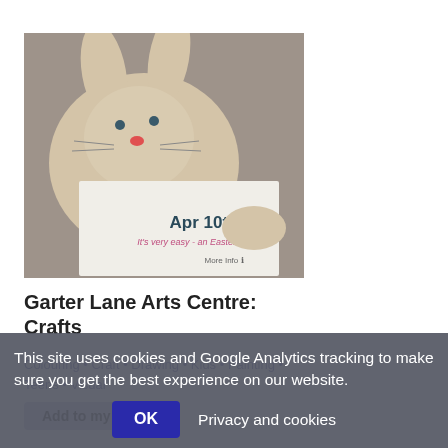[Figure (photo): Photo of a craft Easter bunny card with text 'Apr 10th - It's very easy - an Easter Card! More Info']
Garter Lane Arts Centre: Crafts
Colouring • Craft • Drawing • Kids • Painting • Teens • Visual
Add to my list
This site uses cookies and Google Analytics tracking to make sure you get the best experience on our website.
OK  Privacy and cookies